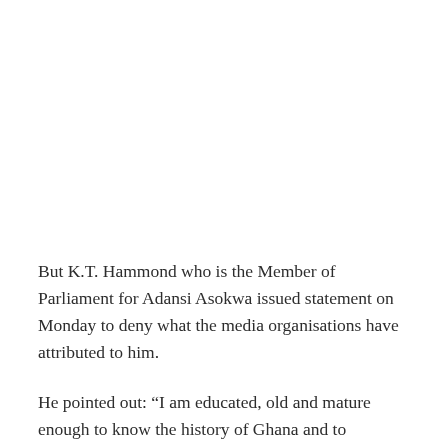But K.T. Hammond who is the Member of Parliament for Adansi Asokwa issued statement on Monday to deny what the media organisations have attributed to him.
He pointed out: “I am educated, old and mature enough to know the history of Ghana and to understand the